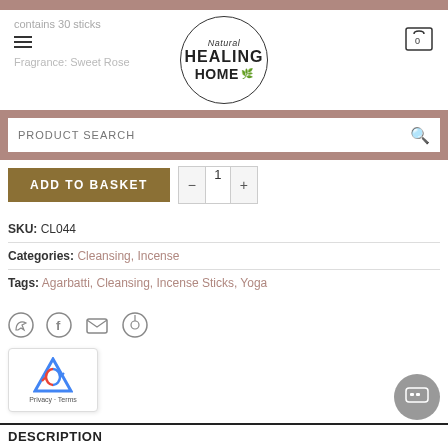contains 30 sticks
Fragrance: Sweet Rose
[Figure (logo): Natural Healing Home logo in a circle]
PRODUCT SEARCH
ADD TO BASKET - 1 +
SKU: CL044
Categories: Cleansing, Incense
Tags: Agarbatti, Cleansing, Incense Sticks, Yoga
[Figure (other): Social share icons: WhatsApp, Facebook, Email, Pinterest]
[Figure (other): reCAPTCHA Privacy - Terms badge]
[Figure (other): Chat support button]
DESCRIPTION